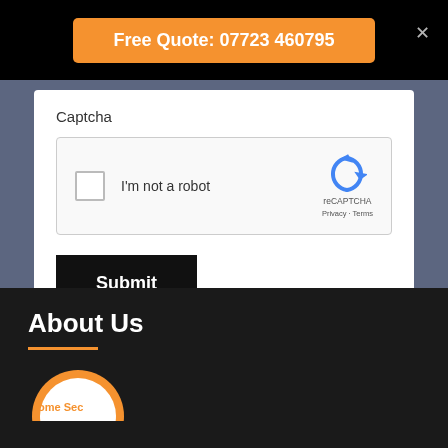Free Quote: 07723 460795
Captcha
[Figure (screenshot): reCAPTCHA widget with checkbox labeled 'I'm not a robot', reCAPTCHA logo and Privacy - Terms links]
Submit
About Us